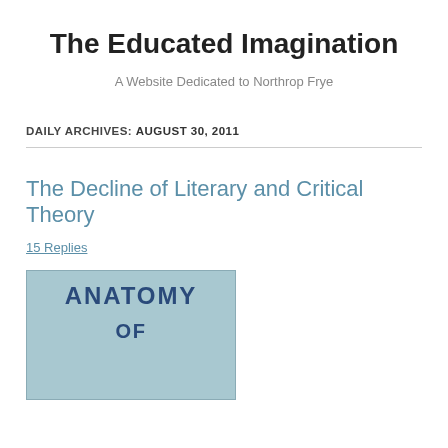The Educated Imagination
A Website Dedicated to Northrop Frye
DAILY ARCHIVES: AUGUST 30, 2011
The Decline of Literary and Critical Theory
15 Replies
[Figure (photo): Book cover showing 'ANATOMY OF' text on a light blue background]